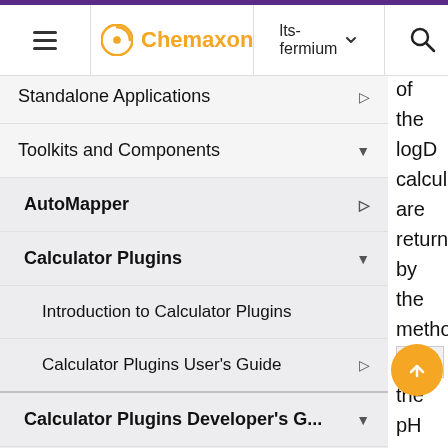Chemaxon | lts-fermium
Standalone Applications
Toolkits and Components
AutoMapper
Calculator Plugins
Introduction to Calculator Plugins
Calculator Plugins User's Guide
Calculator Plugins Developer's G...
Calculator Plugins Web Servic...
Concurrent plugin API usage
of the logD calcula are return by the metho getl the pH ues are